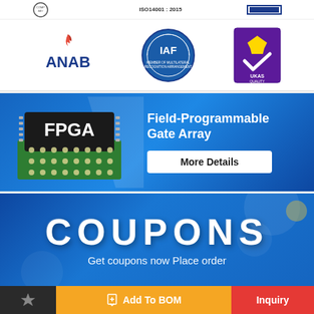[Figure (illustration): Certification logos panel: ANAB, IAF (Member of Multilateral Recognition Arrangement), UKAS Quality Management logos, along with ISO14001:2015 certification marks at top]
[Figure (infographic): FPGA (Field-Programmable Gate Array) promotional banner with chip image on blue background and 'More Details' button]
[Figure (infographic): Coupons promotional banner on blue background: 'COUPONS' large text, subtitle 'Get coupons now Place order']
[Figure (infographic): Bottom toolbar with: star/favorite button (dark), 'Add To BOM' button (orange), 'Inquiry' button (red)]